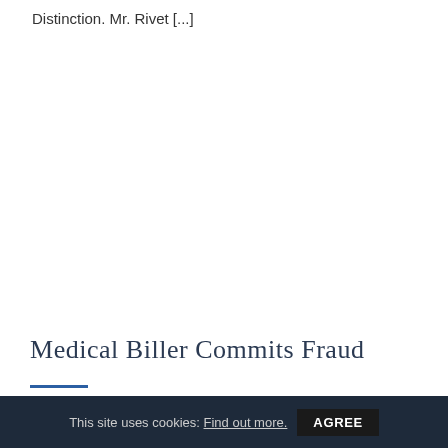Distinction.  Mr. Rivet [...]
03
Jun
Medical Biller Commits Fraud
A medical biller, Joshua Maywalt, of Tampa, Florida, was sentenced to 5 years and 5 [...]
This site uses cookies: Find out more.  AGREE